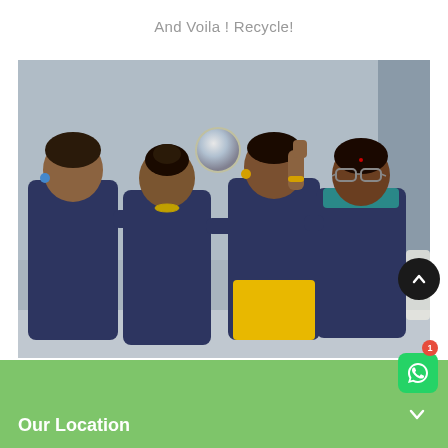And Voila ! Recycle!
[Figure (photo): Four women in navy blue uniforms standing together against a grey wall, smiling and laughing, with arms around each other. A round reflective object is mounted on the wall behind them.]
Our Location